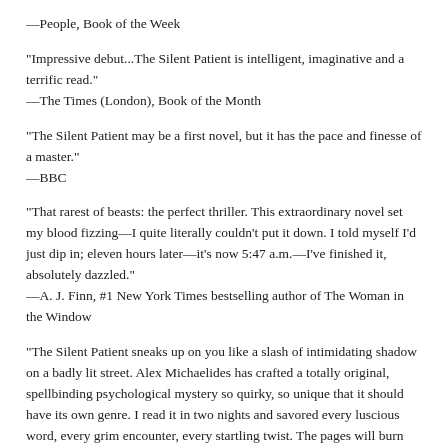—People, Book of the Week
"Impressive debut...The Silent Patient is intelligent, imaginative and a terrific read."
—The Times (London), Book of the Month
"The Silent Patient may be a first novel, but it has the pace and finesse of a master."
—BBC
"That rarest of beasts: the perfect thriller. This extraordinary novel set my blood fizzing—I quite literally couldn't put it down. I told myself I'd just dip in; eleven hours later—it's now 5:47 a.m.—I've finished it, absolutely dazzled."
—A. J. Finn, #1 New York Times bestselling author of The Woman in the Window
"The Silent Patient sneaks up on you like a slash of intimidating shadow on a badly lit street. Alex Michaelides has crafted a totally original, spellbinding psychological mystery so quirky, so unique that it should have its own genre. I read it in two nights and savored every luscious word, every grim encounter, every startling twist. The pages will burn with the friction from your hands turning them."